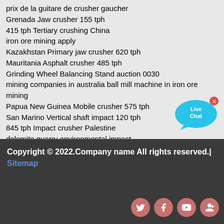prix de la guitare de crusher gaucher
Grenada Jaw crusher 155 tph
415 tph Tertiary crushing China
iron ore mining apply
Kazakhstan Primary jaw crusher 620 tph
Mauritania Asphalt crusher 485 tph
Grinding Wheel Balancing Stand auction 0030
mining companies in australia ball mill machine in iron ore mining
Papua New Guinea Mobile crusher 575 tph
San Marino Vertical shaft impact 120 tph
845 tph Impact crusher Palestine
dolomite quarry environmental impact
Malta Gravel crusher 140 tph
[Figure (illustration): Live Chat bubble icon in cyan/teal color with white text 'Live Chat' and a close (x) button]
Copyright © 2022.Company name All rights reserved.| Sitemap
[Figure (illustration): Social media icons: Twitter, Facebook, YouTube, Google+ in pink/salmon circular buttons]